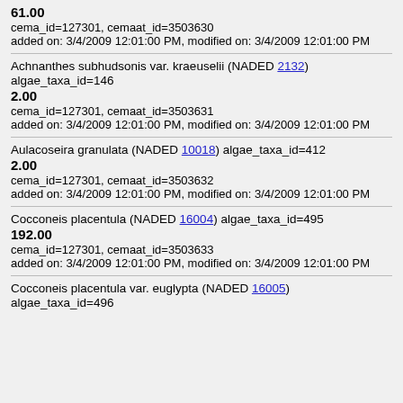61.00
cema_id=127301, cemaat_id=3503630
added on: 3/4/2009 12:01:00 PM, modified on: 3/4/2009 12:01:00 PM
Achnanthes subhudsonis var. kraeuselii (NADED 2132) algae_taxa_id=146
2.00
cema_id=127301, cemaat_id=3503631
added on: 3/4/2009 12:01:00 PM, modified on: 3/4/2009 12:01:00 PM
Aulacoseira granulata (NADED 10018) algae_taxa_id=412
2.00
cema_id=127301, cemaat_id=3503632
added on: 3/4/2009 12:01:00 PM, modified on: 3/4/2009 12:01:00 PM
Cocconeis placentula (NADED 16004) algae_taxa_id=495
192.00
cema_id=127301, cemaat_id=3503633
added on: 3/4/2009 12:01:00 PM, modified on: 3/4/2009 12:01:00 PM
Cocconeis placentula var. euglypta (NADED 16005) algae_taxa_id=496